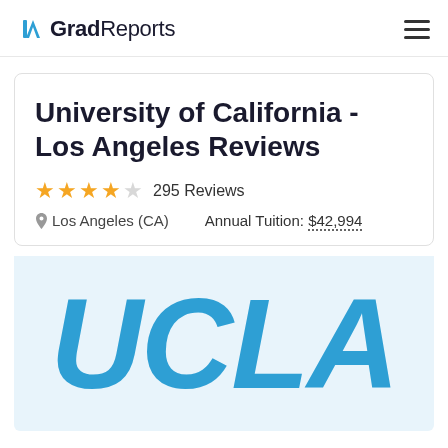GradReports
University of California - Los Angeles Reviews
★★★★☆ 295 Reviews
Los Angeles (CA)    Annual Tuition: $42,994
[Figure (logo): UCLA large blue italic text logo on light blue background]